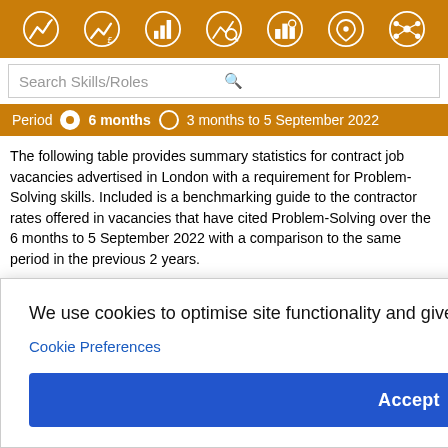[Figure (screenshot): Top navigation bar with orange background and 7 white icon buttons for different data views]
[Figure (screenshot): Search box with placeholder text 'Search Skills/Roles' and search icon]
[Figure (screenshot): Period selector bar with orange background showing '6 months' selected and '3 months to 5 September 2022' option]
The following table provides summary statistics for contract job vacancies advertised in London with a requirement for Problem-Solving skills. Included is a benchmarking guide to the contractor rates offered in vacancies that have cited Problem-Solving over the 6 months to 5 September 2022 with a comparison to the same period in the previous 2 years.
[Figure (screenshot): Cookie consent overlay with text 'We use cookies to optimise site functionality and give you the best possible experience', a 'Cookie Preferences' link, and an 'Accept' button]
| Same period 2020 |
| --- |
| 44 |